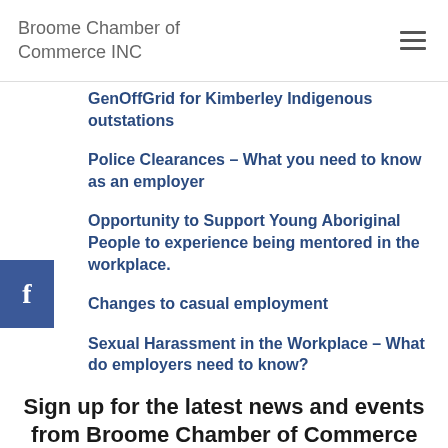Broome Chamber of Commerce INC
GenOffGrid for Kimberley Indigenous outstations
Police Clearances – What you need to know as an employer
Opportunity to Support Young Aboriginal People to experience being mentored in the workplace.
Changes to casual employment
Sexual Harassment in the Workplace – What do employers need to know?
Sign up for the latest news and events from Broome Chamber of Commerce